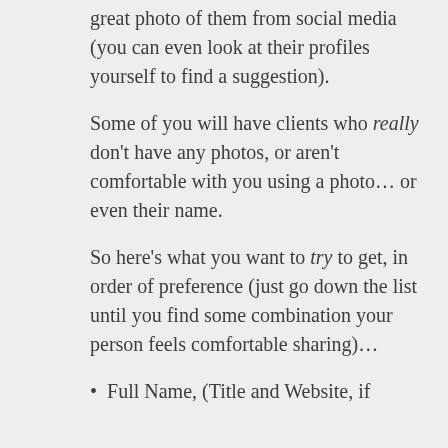great photo of them from social media (you can even look at their profiles yourself to find a suggestion).
Some of you will have clients who really don't have any photos, or aren't comfortable with you using a photo… or even their name.
So here's what you want to try to get, in order of preference (just go down the list until you find some combination your person feels comfortable sharing)…
Full Name, (Title and Website, if